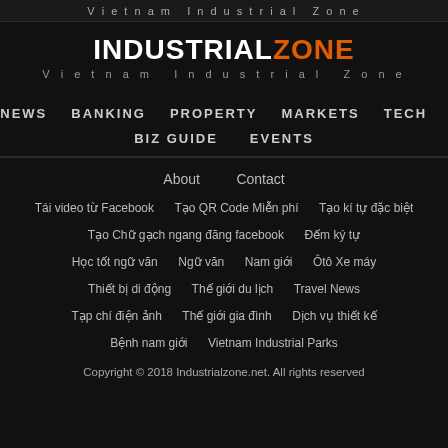Vietnam Industrial Zone
INDUSTRIALZONE Vietnam Industrial Zone
HOME  NEWS  BANKING  PROPERTY  MARKETS  TECH  WHEELS  BIZ GUIDE  EVENTS
About  Contact
Tái video từ Facebook  Tạo QR Code Miễn phí  Tạo kí tự đặc biệt
Tạo Chữ gạch ngang đăng facebook  Đếm ký tự
Học tốt ngữ văn  Ngữ văn  Nam giới  Ôtô Xe máy
Thiết bị di động  Thế giới du lịch  Travel News
Tạp chí điện ảnh  Thế giới gia đình  Dịch vụ thiết kế
Bệnh nam giới  Vietnam Industrial Parks
Copyright © 2018 Industrialzone.net. All rights reserved